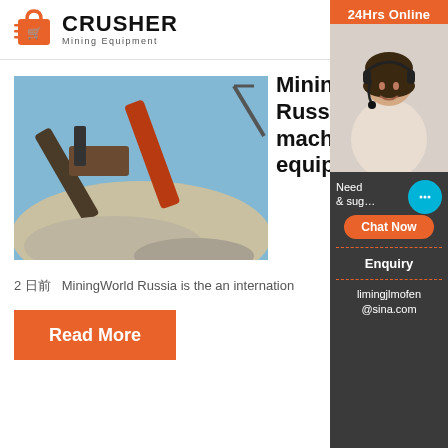[Figure (logo): Crusher Mining Equipment logo with red shopping bag icon and bold black CRUSHER text]
[Figure (photo): Outdoor mining site with red conveyor belts and large piles of crushed stone under blue sky]
MiningWorld Russia – Mining machine equipment
2 日前   MiningWorld Russia is the an internation
Read More
[Figure (infographic): Sidebar with 24Hrs Online banner, customer service agent photo, Need & suggestions chat area, Chat Now button, Enquiry section, and limingjlmofen@sina.com email]